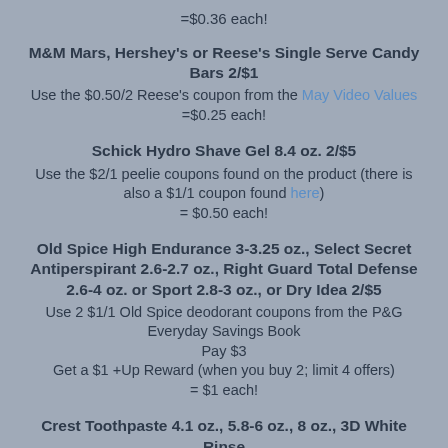=$0.36 each!
M&M Mars, Hershey's or Reese's Single Serve Candy Bars 2/$1
Use the $0.50/2 Reese's coupon from the May Video Values =$0.25 each!
Schick Hydro Shave Gel 8.4 oz. 2/$5
Use the $2/1 peelie coupons found on the product (there is also a $1/1 coupon found here) = $0.50 each!
Old Spice High Endurance 3-3.25 oz., Select Secret Antiperspirant 2.6-2.7 oz., Right Guard Total Defense 2.6-4 oz. or Sport 2.8-3 oz., or Dry Idea 2/$5
Use 2 $1/1 Old Spice deodorant coupons from the P&G Everyday Savings Book Pay $3 Get a $1 +Up Reward (when you buy 2; limit 4 offers) = $1 each!
Crest Toothpaste 4.1 oz., 5.8-6 oz., 8 oz., 3D White Rinse